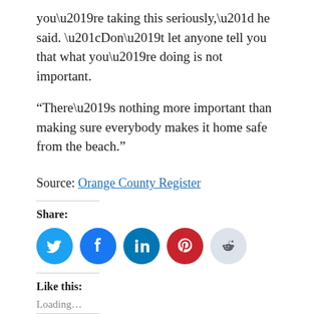you’re taking this seriously,” he said. “Don’t let anyone tell you that what you’re doing is not important.
“There’s nothing more important than making sure everybody makes it home safe from the beach.”
Source: Orange County Register
Share:
[Figure (infographic): Social share buttons: Twitter (blue), Facebook (blue), LinkedIn (teal), Pinterest (red), Reddit (light blue/gray)]
Like this:
Loading...